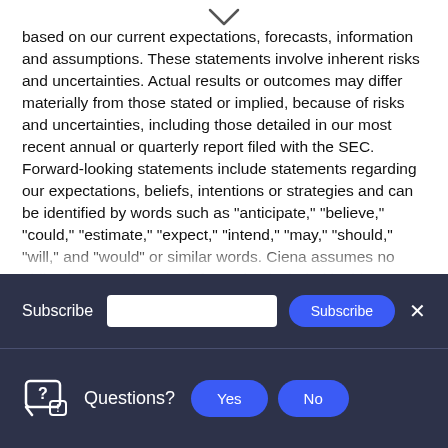based on our current expectations, forecasts, information and assumptions. These statements involve inherent risks and uncertainties. Actual results or outcomes may differ materially from those stated or implied, because of risks and uncertainties, including those detailed in our most recent annual or quarterly report filed with the SEC. Forward-looking statements include statements regarding our expectations, beliefs, intentions or strategies and can be identified by words such as "anticipate," "believe," "could," "estimate," "expect," "intend," "may," "should," "will," and "would" or similar words. Ciena assumes no obligation to update the information included in this press release, whether as a